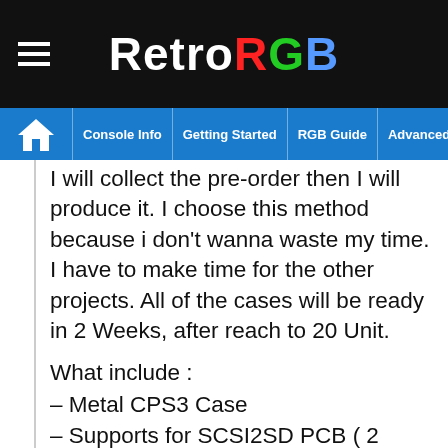RetroRGB
Console Info | Getting Started | RGB Guide | Advanced RGB Info | Ab
I will collect the pre-order then I will produce it. I choose this method because i don't wanna waste my time. I have to make time for the other projects. All of the cases will be ready in 2 Weeks, after reach to 20 Unit.
What include :
– Metal CPS3 Case
– Supports for SCSI2SD PCB ( 2 different PCB )
– Antislip feets.
– Metal parts which can be use to attach